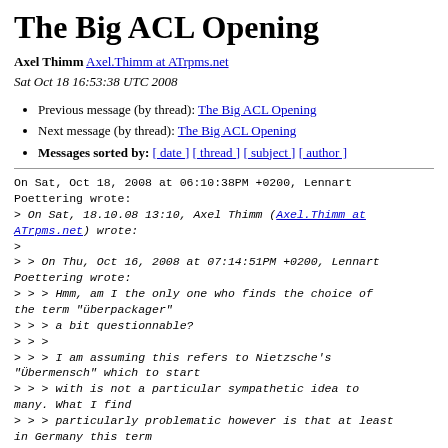The Big ACL Opening
Axel Thimm Axel.Thimm at ATrpms.net
Sat Oct 18 16:53:38 UTC 2008
Previous message (by thread): The Big ACL Opening
Next message (by thread): The Big ACL Opening
Messages sorted by: [ date ] [ thread ] [ subject ] [ author ]
On Sat, Oct 18, 2008 at 06:10:38PM +0200, Lennart Poettering wrote:
> On Sat, 18.10.08 13:10, Axel Thimm (Axel.Thimm at ATrpms.net) wrote:
>
> > On Thu, Oct 16, 2008 at 07:14:51PM +0200, Lennart Poettering wrote:
> > > Hmm, am I the only one who finds the choice of the term "überpackager"
> > > a bit questionnable?
> > >
> > > I am assuming this refers to Nietzsche's "Übermensch" which to start
> > > with is not a particular sympathetic idea to many. What I find
> > > particularly problematic however is that at least in Germany this term